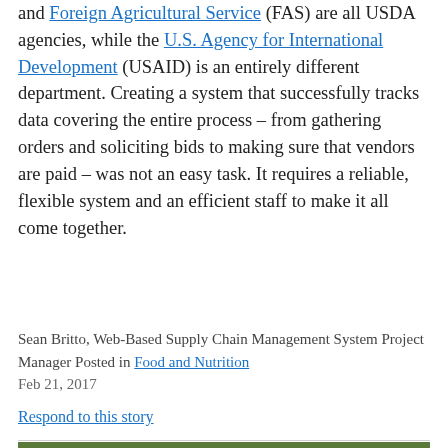and Foreign Agricultural Service (FAS) are all USDA agencies, while the U.S. Agency for International Development (USAID) is an entirely different department. Creating a system that successfully tracks data covering the entire process – from gathering orders and soliciting bids to making sure that vendors are paid – was not an easy task. It requires a reliable, flexible system and an efficient staff to make it all come together.
Sean Britto, Web-Based Supply Chain Management System Project Manager Posted in Food and Nutrition
Feb 21, 2017
Respond to this story
[Figure (photo): Close-up photo of fresh green broccoli florets]